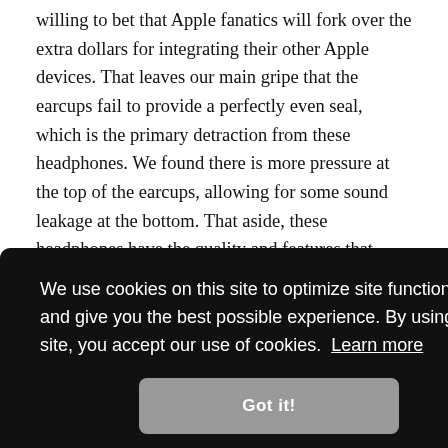willing to bet that Apple fanatics will fork over the extra dollars for integrating their other Apple devices. That leaves our main gripe that the earcups fail to provide a perfectly even seal, which is the primary detraction from these headphones. We found there is more pressure at the top of the earcups, allowing for some sound leakage at the bottom. That aside, these headphones have the quality and features that keep Apple fans loyal, and they won't disappoint that crowd.
We use cookies on this site to optimize site functionality and give you the best possible experience. By using this site, you accept our use of cookies. Learn more
Got it!
[Figure (photo): Bottom strip showing partial photo of a person, partially cropped]